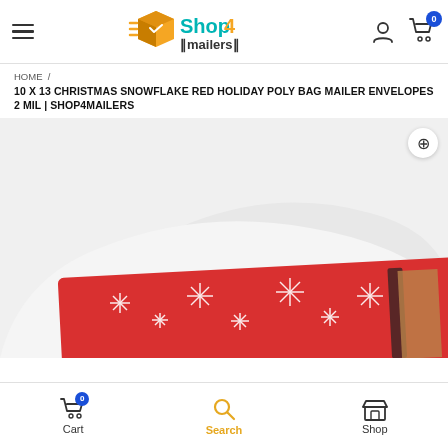Shop4Mailers - Navigation header with hamburger menu, logo, user icon, and cart (0)
HOME / 10 X 13 CHRISTMAS SNOWFLAKE RED HOLIDAY POLY BAG MAILER ENVELOPES 2 MIL | SHOP4MAILERS
[Figure (photo): Product photo showing a red poly mailer bag with white snowflake pattern, partially under a white pillow-like shape, with a dark edge visible on the right side.]
Cart (0)  Search  Shop